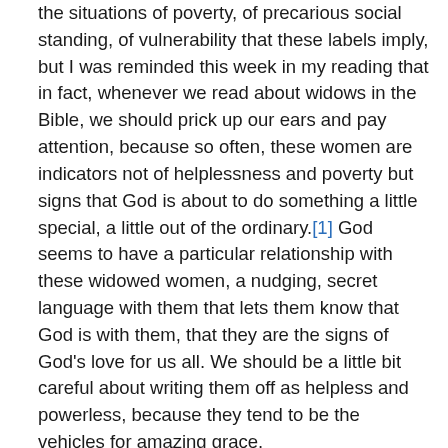the situations of poverty, of precarious social standing, of vulnerability that these labels imply, but I was reminded this week in my reading that in fact, whenever we read about widows in the Bible, we should prick up our ears and pay attention, because so often, these women are indicators not of helplessness and poverty but signs that God is about to do something a little special, a little out of the ordinary.[1] God seems to have a particular relationship with these widowed women, a nudging, secret language with them that lets them know that God is with them, that they are the signs of God's love for us all. We should be a little bit careful about writing them off as helpless and powerless, because they tend to be the vehicles for amazing grace.

Think of Judith, the widow of Manasseh, a profound prophetess who used both her feminine wiles and